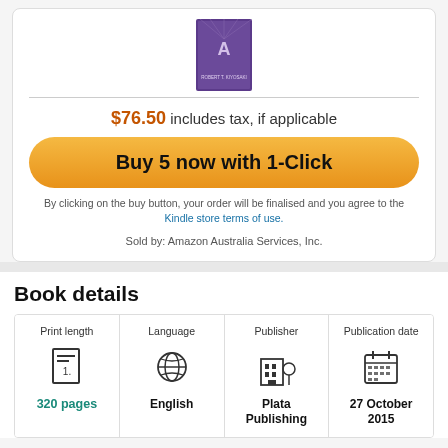[Figure (photo): Book cover thumbnail for a Robert T. Kiyosaki book with purple background]
$76.50 includes tax, if applicable
Buy 5 now with 1-Click
By clicking on the buy button, your order will be finalised and you agree to the Kindle store terms of use.
Sold by: Amazon Australia Services, Inc.
Book details
| Print length | Language | Publisher | Publication date |
| --- | --- | --- | --- |
| 320 pages | English | Plata Publishing | 27 October 2015 |